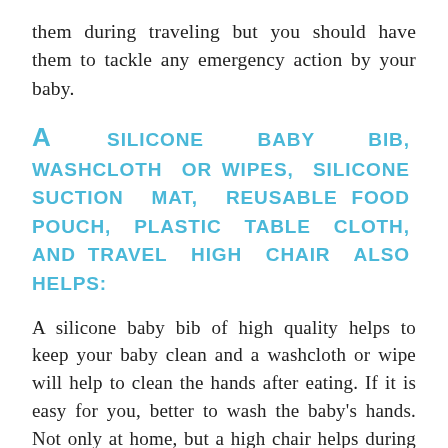them during traveling but you should have them to tackle any emergency action by your baby.
A SILICONE BABY BIB, WASHCLOTH OR WIPES, SILICONE SUCTION MAT, REUSABLE FOOD POUCH, PLASTIC TABLE CLOTH, AND TRAVEL HIGH CHAIR ALSO HELPS:
A silicone baby bib of high quality helps to keep your baby clean and a washcloth or wipe will help to clean the hands after eating. If it is easy for you, better to wash the baby's hands. Not only at home, but a high chair helps during traveling too. You just have to invest in a good